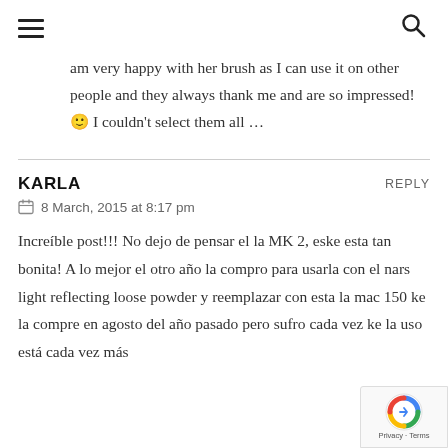☰  🔍
am very happy with her brush as I can use it on other people and they always thank me and are so impressed! 🙂 I couldn't select them all …
KARLA   REPLY
📅 8 March, 2015 at 8:17 pm
Increíble post!!! No dejo de pensar el la MK 2, eske esta tan bonita! A lo mejor el otro año la compro para usarla con el nars light reflecting loose powder y reemplazar con esta la mac 150 ke la compre en agosto del año pasado pero sufro cada vez ke la uso está cada vez más …